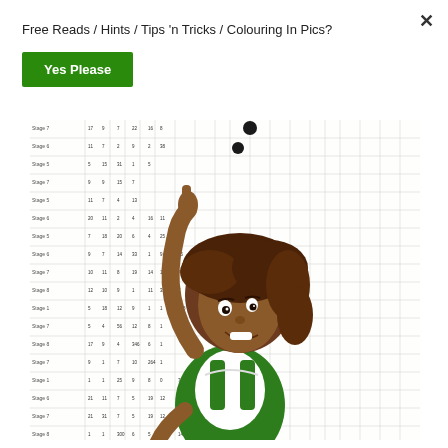Free Reads / Hints / Tips 'n Tricks / Colouring In Pics?
Yes Please
[Figure (illustration): A cartoon illustration of a dark-skinned girl with brown hair pointing upward at a table/chart grid, wearing a white shirt and green overalls. The background shows a printed table with rows of numbers and stage labels.]
×